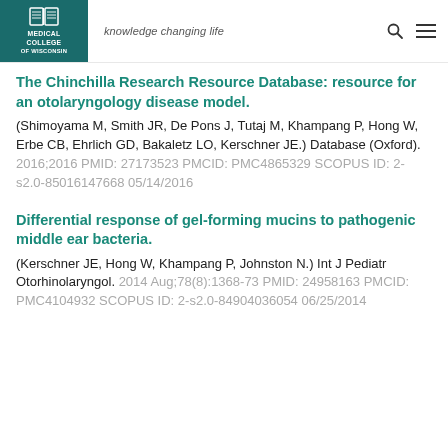Medical College of Wisconsin — knowledge changing life
The Chinchilla Research Resource Database: resource for an otolaryngology disease model.
(Shimoyama M, Smith JR, De Pons J, Tutaj M, Khampang P, Hong W, Erbe CB, Ehrlich GD, Bakaletz LO, Kerschner JE.) Database (Oxford). 2016;2016 PMID: 27173523 PMCID: PMC4865329 SCOPUS ID: 2-s2.0-85016147668 05/14/2016
Differential response of gel-forming mucins to pathogenic middle ear bacteria.
(Kerschner JE, Hong W, Khampang P, Johnston N.) Int J Pediatr Otorhinolaryngol. 2014 Aug;78(8):1368-73 PMID: 24958163 PMCID: PMC4104932 SCOPUS ID: 2-s2.0-84904036054 06/25/2014